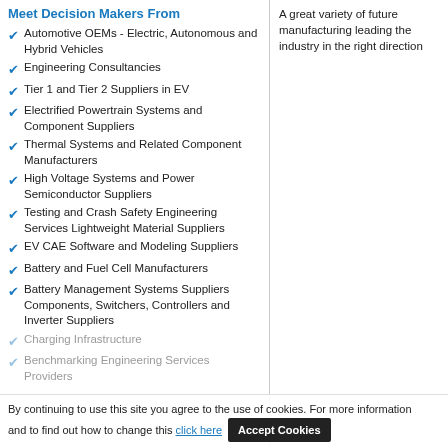Meet Decision Makers From
Automotive OEMs - Electric, Autonomous and Hybrid Vehicles
Engineering Consultancies
Tier 1 and Tier 2 Suppliers in EV
Electrified Powertrain Systems and Component Suppliers
Thermal Systems and Related Component Manufacturers
High Voltage Systems and Power Semiconductor Suppliers
Testing and Crash Safety Engineering Services Lightweight Material Suppliers
EV CAE Software and Modeling Suppliers
Battery and Fuel Cell Manufacturers
Battery Management Systems Suppliers  Components, Switchers, Controllers and Inverter Suppliers
Charging Infrastructure
Benchmarking Engineering Services Providers
A great variety of future manufacturing leading the industry in the right direction
By continuing to use this site you agree to the use of cookies. For more information and to find out how to change your settings click here